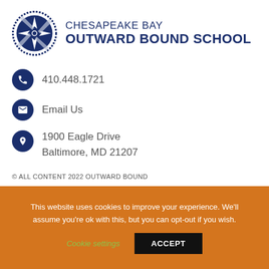[Figure (logo): Chesapeake Bay Outward Bound School logo — compass rose medallion with rope border, blue circular badge, next to text CHESAPEAKE BAY OUTWARD BOUND SCHOOL in dark navy]
410.448.1721
Email Us
1900 Eagle Drive
Baltimore, MD 21207
© ALL CONTENT 2022 OUTWARD BOUND
This website uses cookies to improve your experience. We'll assume you're ok with this, but you can opt-out if you wish.
Cookie settings  ACCEPT